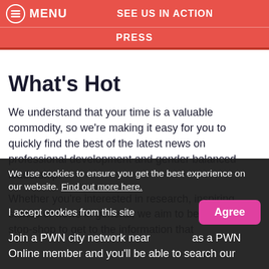MENU  SEE US IN ACTION
PRESS
What's Hot
We understand that your time is a valuable commodity, so we're making it easy for you to quickly find the best of the latest news on professional development and gender balanced leadership.
Whether you're interested in research, inspiring stories or news in general, we aim to be your one-stop-shop to get to the information that
We use cookies to ensure you get the best experience on our website. Find out more here.
I accept cookies from this site
Join a PWN city network near as a PWN Online member and you'll be able to search our